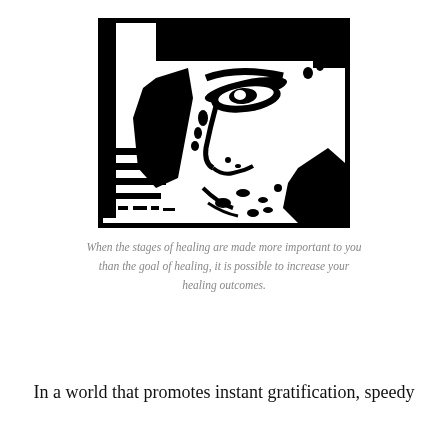[Figure (illustration): High-contrast black and white illustration of a human face in close-up, showing primarily one eye, nose, and partial features, rendered in a bold graphic/woodcut style with black and white only.]
When the stages of healing are made more important to you than the goal of healing, it is possible to increase your healing outcomes.
In a world that promotes instant gratification, speedy